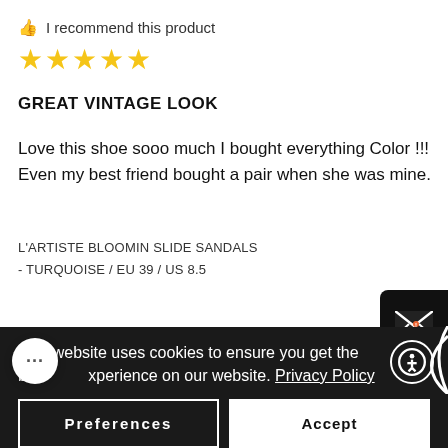👍 I recommend this product
★★★★★
GREAT VINTAGE LOOK
Love this shoe sooo much I bought everything Color !!! Even my best friend bought a pair when she was mine.
L'ARTISTE BLOOMIN SLIDE SANDALS
- TURQUOISE / EU 39 / US 8.5
This website uses cookies to ensure you get the best experience on our website. Privacy Policy
Preferences
Accept